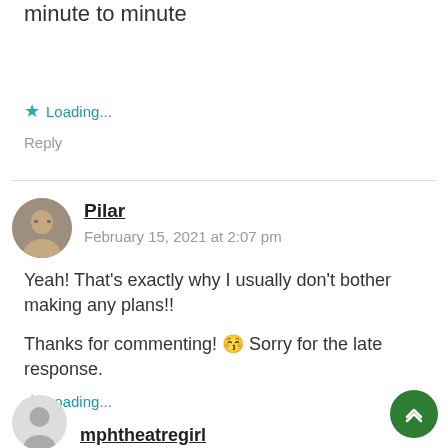want to read rent changes from minute to minute
⭐ Loading...
Reply
Pilar
February 15, 2021 at 2:07 pm
Yeah! That's exactly why I usually don't bother making any plans!!
Thanks for commenting! 😚 Sorry for the late response.
⭐ Loading...
Reply
mphtheatregirl